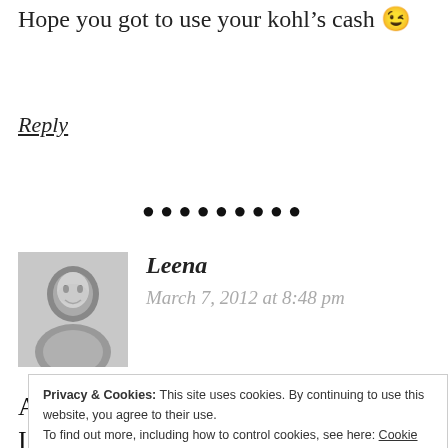Hope you got to use your kohl's cash 😉
Reply
[Figure (other): Row of bullet/dot characters as a horizontal divider]
[Figure (photo): Black and white avatar photo of commenter Leena]
Leena
March 7, 2012 at 8:48 pm
Anaother amazing spread for the week! I love the
Privacy & Cookies: This site uses cookies. By continuing to use this website, you agree to their use.
To find out more, including how to control cookies, see here: Cookie Policy
Close and accept